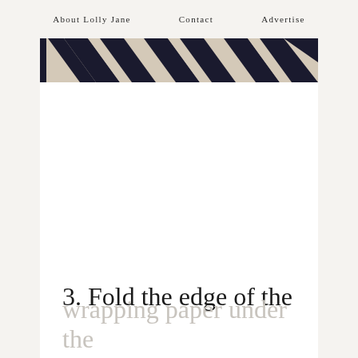About Lolly Jane   Contact   Advertise
[Figure (photo): Close-up photo of a black and tan chevron/geometric patterned fabric or rug, cropped to show only the top portion of the pattern]
3. Fold the edge of the
wrapping paper under the